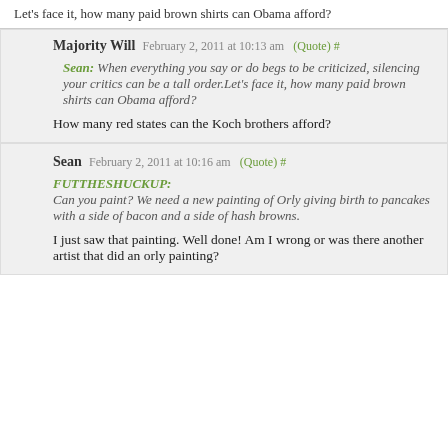Let's face it, how many paid brown shirts can Obama afford?
Majority Will  February 2, 2011 at 10:13 am  (Quote) #
Sean: When everything you say or do begs to be criticized, silencing your critics can be a tall order.Let's face it, how many paid brown shirts can Obama afford?
How many red states can the Koch brothers afford?
Sean  February 2, 2011 at 10:16 am  (Quote) #
FUTTHESHUCKUP: Can you paint? We need a new painting of Orly giving birth to pancakes with a side of bacon and a side of hash browns.
I just saw that painting. Well done! Am I wrong or was there another artist that did an orly painting?